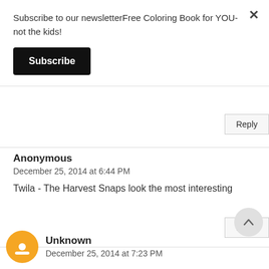Subscribe to our newsletterFree Coloring Book for YOU- not the kids!
Subscribe
Reply
Anonymous
December 25, 2014 at 6:44 PM
Twila - The Harvest Snaps look the most interesting
Reply
Unknown
December 25, 2014 at 7:23 PM